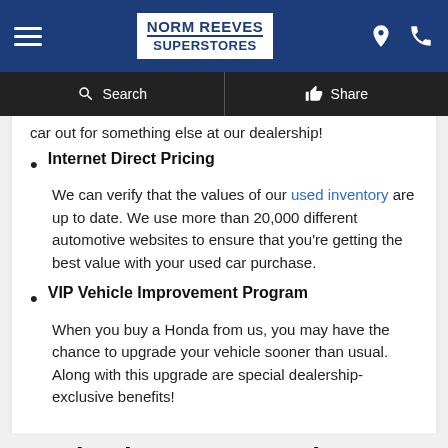Norm Reeves Superstores
car out for something else at our dealership!
Internet Direct Pricing
We can verify that the values of our used inventory are up to date. We use more than 20,000 different automotive websites to ensure that you're getting the best value with your used car purchase.
VIP Vehicle Improvement Program
When you buy a Honda from us, you may have the chance to upgrade your vehicle sooner than usual. Along with this upgrade are special dealership-exclusive benefits!
Honda Finance & Leasing